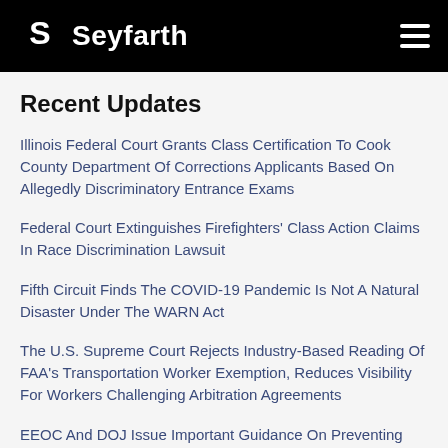Seyfarth
Recent Updates
Illinois Federal Court Grants Class Certification To Cook County Department Of Corrections Applicants Based On Allegedly Discriminatory Entrance Exams
Federal Court Extinguishes Firefighters' Class Action Claims In Race Discrimination Lawsuit
Fifth Circuit Finds The COVID-19 Pandemic Is Not A Natural Disaster Under The WARN Act
The U.S. Supreme Court Rejects Industry-Based Reading Of FAA's Transportation Worker Exemption, Reduces Visibility For Workers Challenging Arbitration Agreements
EEOC And DOJ Issue Important Guidance On Preventing